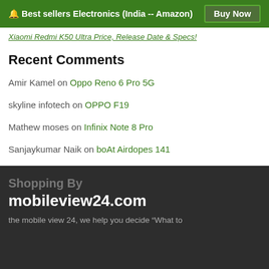🔔 Best sellers Electronics (India -- Amazon) | Buy Now
Xiaomi Redmi K50 Ultra Price, Release Date & Specs!
Recent Comments
Amir Kamel on Oppo Reno 6 Pro 5G
skyline infotech on OPPO F19
Mathew moses on Infinix Note 8 Pro
Sanjaykumar Naik on boAt Airdopes 141
Max Jack on Tecno Buds 1
Shopping By mobileview24.com — the mobile view 24, we help you decide "What to